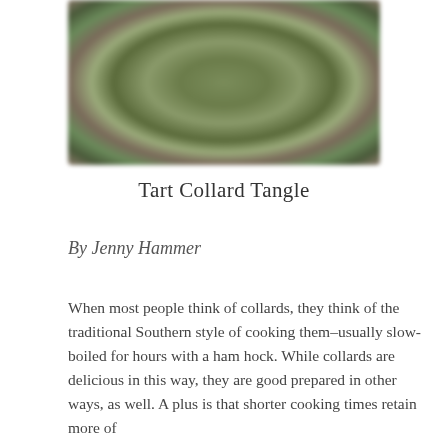[Figure (photo): A close-up photo of collard greens, blurred, showing green and brownish leafy vegetables.]
Tart Collard Tangle
By Jenny Hammer
When most people think of collards, they think of the traditional Southern style of cooking them–usually slow-boiled for hours with a ham hock. While collards are delicious in this way, they are good prepared in other ways, as well. A plus is that shorter cooking times retain more of